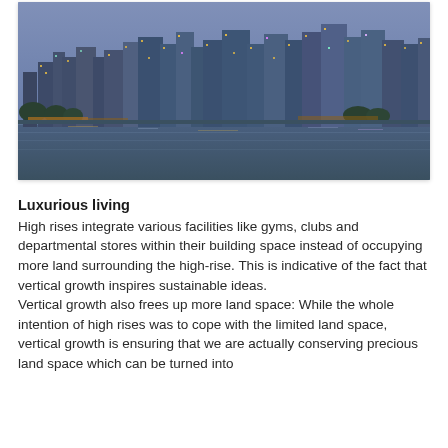[Figure (photo): Panoramic city skyline at dusk/night with tall buildings illuminated against a blue twilight sky, reflected in calm water in the foreground.]
Luxurious living
High rises integrate various facilities like gyms, clubs and departmental stores within their building space instead of occupying more land surrounding the high-rise. This is indicative of the fact that vertical growth inspires sustainable ideas.
Vertical growth also frees up more land space: While the whole intention of high rises was to cope with the limited land space, vertical growth is ensuring that we are actually conserving precious land space which can be turned into